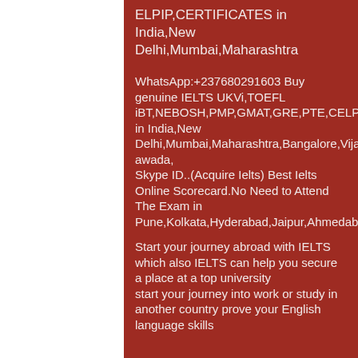ELPIP,CERTIFICATES in India,New Delhi,Mumbai,Maharashtra
WhatsApp:+237680291603 Buy genuine IELTS UKVi,TOEFL iBT,NEBOSH,PMP,GMAT,GRE,PTE,CELPIP,CERTIFICATES in India,New Delhi,Mumbai,Maharashtra,Bangalore,Vijayawada,
Skype ID..(Acquire Ielts) Best Ielts Online Scorecard.No Need to Attend The Exam in Pune,Kolkata,Hyderabad,Jaipur,Ahmedabad,Srinagar,Surat
Start your journey abroad with IELTS which also IELTS can help you secure a place at a top university
start your journey into work or study in another country prove your English language skills